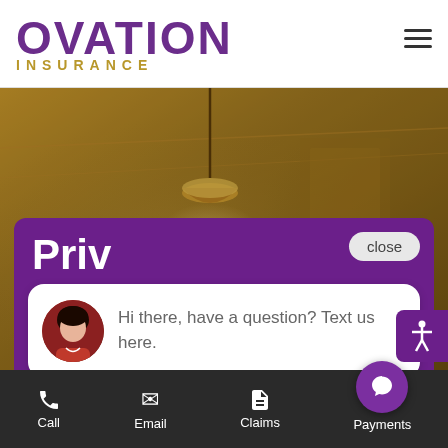[Figure (screenshot): Ovation Insurance website screenshot showing logo header with purple OVATION text and gold INSURANCE subtext, hamburger menu icon, golden-toned interior room background, purple chat popup panel with 'Priv...' text partially visible and a speech bubble saying 'Hi there, have a question? Text us here.', close button, accessibility icon, and bottom navigation bar with Call, Email, Claims, Payments options and a purple chat FAB button.]
OVATION INSURANCE
close
Priv
Hi there, have a question? Text us here.
Call  Email  Claims  Payments